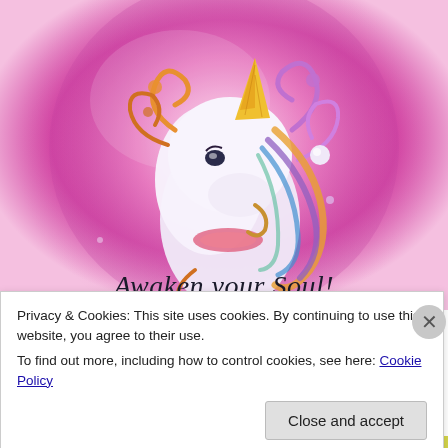[Figure (illustration): Colorful painting of a unicorn with a golden horn, flowing rainbow mane and decorative curls, against a pink and lavender glowing orb background. Text at the bottom reads 'Awaken your Soul!' in italic serif font.]
Privacy & Cookies: This site uses cookies. By continuing to use this website, you agree to their use.
To find out more, including how to control cookies, see here: Cookie Policy
Close and accept